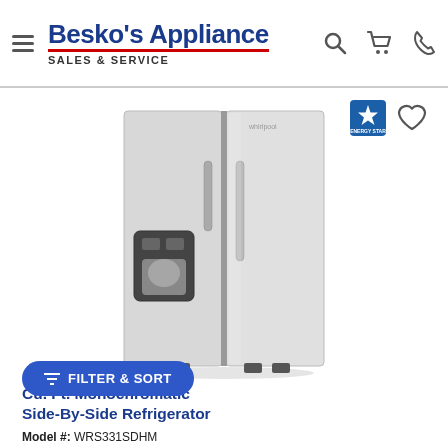Besko's Appliance SALES & SERVICE
[Figure (photo): Stainless steel side-by-side refrigerator with ice and water dispenser on the left door, with a vertical handle on the right door]
[Figure (logo): Energy Star certification logo (blue star badge)]
[Figure (other): Heart/wishlist icon]
FILTER & SORT
Cu. Ft. Monochromatic Side-By-Side Refrigerator
Model #: WRS331SDHM